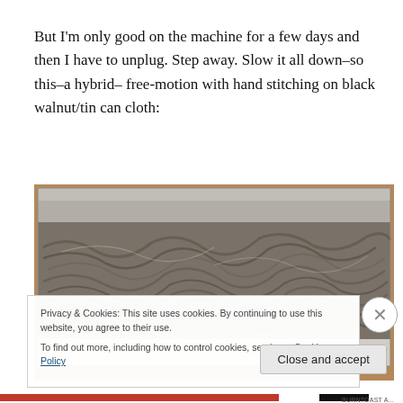But I'm only good on the machine for a few days and then I have to unplug. Step away. Slow it all down–so this–a hybrid– free-motion with hand stitching on black walnut/tin can cloth:
[Figure (photo): Close-up photograph of a textile artwork showing textured fabric with hand stitching and free-motion embroidery in grey and brown tones on black walnut/tin can cloth, displayed on a light background on a wooden surface.]
Privacy & Cookies: This site uses cookies. By continuing to use this website, you agree to their use. To find out more, including how to control cookies, see here: Cookie Policy
Close and accept